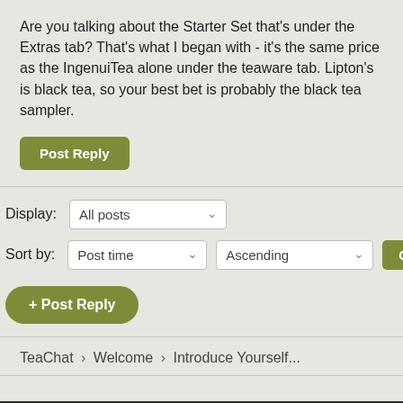Are you talking about the Starter Set that's under the Extras tab? That's what I began with - it's the same price as the IngenuiTea alone under the teaware tab. Lipton's is black tea, so your best bet is probably the black tea sampler.
Post Reply
Display: All posts
Sort by: Post time  Ascending  Go
+ Post Reply
TeaChat › Welcome › Introduce Yourself...